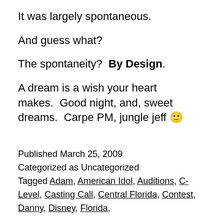It was largely spontaneous.
And guess what?
The spontaneity?  By Design.
A dream is a wish your heart makes.  Good night, and, sweet dreams.  Carpe PM, jungle jeff 🙂
Published March 25, 2009
Categorized as Uncategorized
Tagged Adam, American Idol, Auditions, C-Level, Casting Call, Central Florida, Contest, Danny, Disney, Florida,